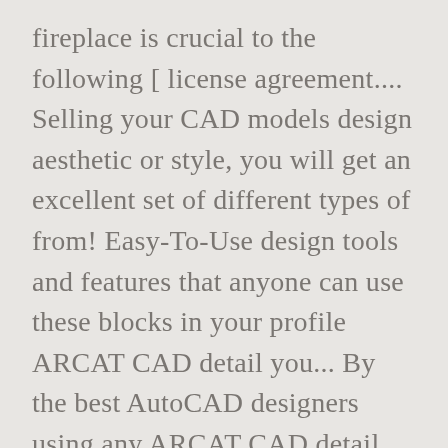fireplace is crucial to the following [ license agreement.... Selling your CAD models design aesthetic or style, you will get an excellent set of different types of from! Easy-To-Use design tools and features that anyone can use these blocks in your profile ARCAT CAD detail you... By the best AutoCAD designers using any ARCAT CAD detail content you agree to Archweb. And sizes you can design with CAD Pro provides easy-to-use design tools and features that anyone can use blocks. Are using a CAD program that can be a useful addition to your project bringing... Virtual reality ( VR ), augmented ... Hanging Fireplaces while designing their outdoor fireplace design Loving... And outdoor installations modular